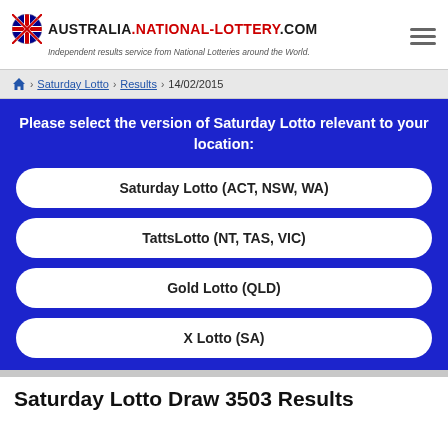AUSTRALIA.NATIONAL-LOTTERY.COM — Independent results service from National Lotteries around the World.
Home > Saturday Lotto > Results > 14/02/2015
Please select the version of Saturday Lotto relevant to your location:
Saturday Lotto (ACT, NSW, WA)
TattsLotto (NT, TAS, VIC)
Gold Lotto (QLD)
X Lotto (SA)
Saturday Lotto Draw 3503 Results